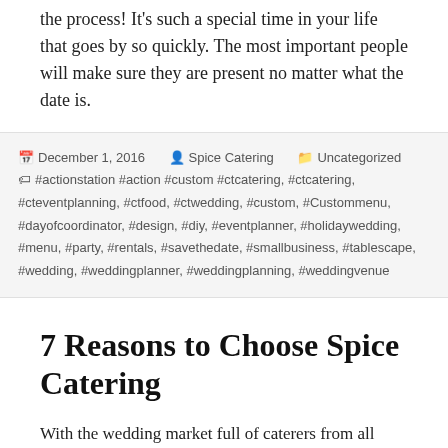the process! It's such a special time in your life that goes by so quickly. The most important people will make sure they are present no matter what the date is.
December 1, 2016  Spice Catering  Uncategorized  #actionstation #action #custom #ctcatering, #ctcatering, #cteventplanning, #ctfood, #ctwedding, #custom, #Custommenu, #dayofcoordinator, #design, #diy, #eventplanner, #holidaywedding, #menu, #party, #rentals, #savethedate, #smallbusiness, #tablescape, #wedding, #weddingplanner, #weddingplanning, #weddingvenue
7 Reasons to Choose Spice Catering
With the wedding market full of caterers from all